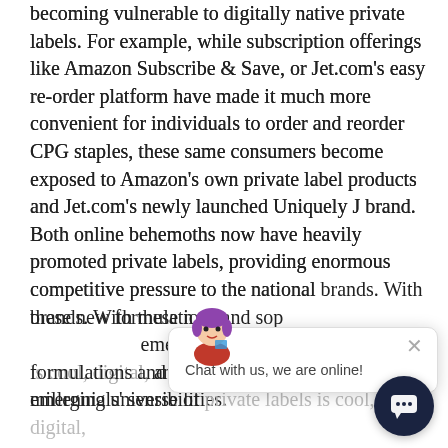becoming vulnerable to digitally native private labels. For example, while subscription offerings like Amazon Subscribe & Save, or Jet.com's easy re-order platform have made it much more convenient for individuals to order and reorder CPG staples, these same consumers become exposed to Amazon's own private label products and Jet.com's newly launched Uniquely J brand. Both online behemoths now have heavily promoted private labels, providing enormous competitive pressure to the national brands. With these new formulations and sophisticated branding, the emerging universe of private labels is cool, digital, and designed to appeal to millennials' sensibilities.
[Figure (other): A live chat widget overlay with a cartoon avatar character, an X close button, and the message 'Chat with us, we are online!' along with a dark circular chat button in the bottom right corner.]